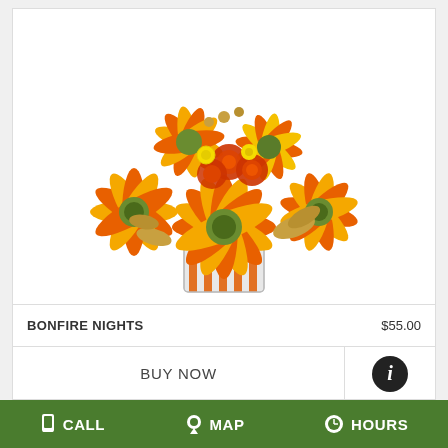[Figure (photo): A floral arrangement called Bonfire Nights featuring orange and yellow gerbera daisies, orange roses, and other warm-toned flowers in a square glass vase decorated with orange ribbons.]
BONFIRE NIGHTS    $55.00
BUY NOW
[Figure (other): Info icon - dark circle with letter i]
CALL   MAP   HOURS